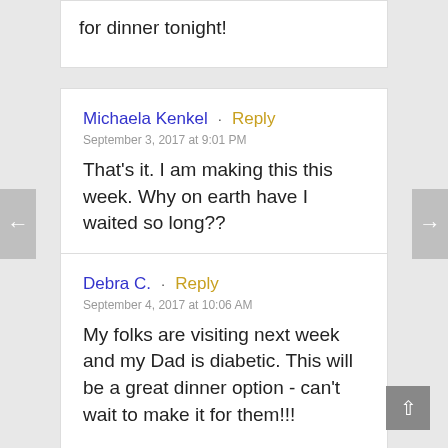for dinner tonight!
Michaela Kenkel · Reply
September 3, 2017 at 9:01 PM
That's it. I am making this this week. Why on earth have I waited so long??
Debra C. · Reply
September 4, 2017 at 10:06 AM
My folks are visiting next week and my Dad is diabetic. This will be a great dinner option - can't wait to make it for them!!!